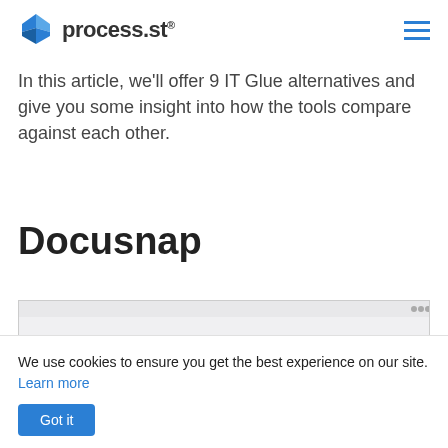process.st
In this article, we'll offer 9 IT Glue alternatives and give you some insight into how the tools compare against each other.
Docusnap
[Figure (screenshot): Screenshot of Docusnap software interface showing a network diagram with a person/user icon connected to network nodes in a tree structure, with a left-side navigation panel.]
We use cookies to ensure you get the best experience on our site. Learn more
Got it